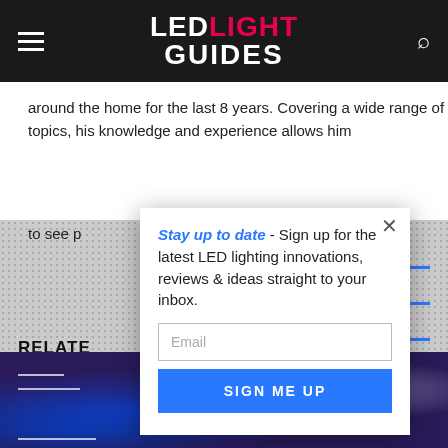LED LIGHT GUIDES
around the home for the last 8 years. Covering a wide range of topics, his knowledge and experience allows him to see p…ucts for
Stay up to date - Sign up for the latest LED lighting innovations, reviews & ideas straight to your inbox.
Email
SIGN ME UP
RELATE
[Figure (photo): Room with blue LED lighting at night, outdoor lounge area]